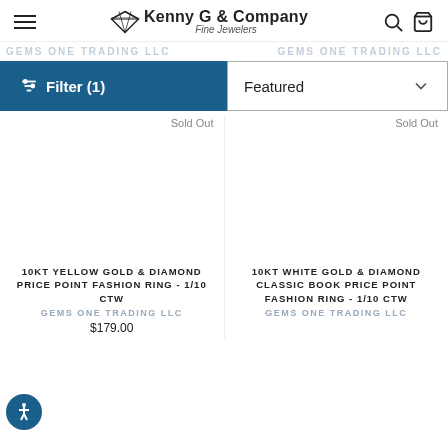Kenny G & Company Fine Jewelers
GEMS ONE TRADING LLC
Filter (1)
Featured
Sold Out
Sold Out
10KT YELLOW GOLD & DIAMOND PRICE POINT FASHION RING - 1/10 CTW
GEMS ONE TRADING LLC
$179.00
10KT WHITE GOLD & DIAMOND CLASSIC BOOK PRICE POINT FASHION RING - 1/10 CTW
GEMS ONE TRADING LLC